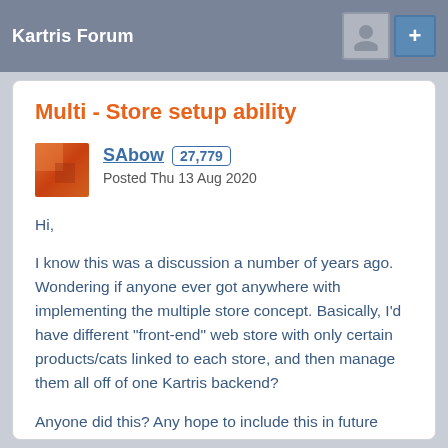Kartris Forum
Multi - Store setup ability
SAbow 27,779
Posted Thu 13 Aug 2020
Hi,

I know this was a discussion a number of years ago. Wondering if anyone ever got anywhere with implementing the multiple store concept. Basically, I'd have different "front-end" web store with only certain products/cats linked to each store, and then manage them all off of one Kartris backend?

Anyone did this? Any hope to include this in future